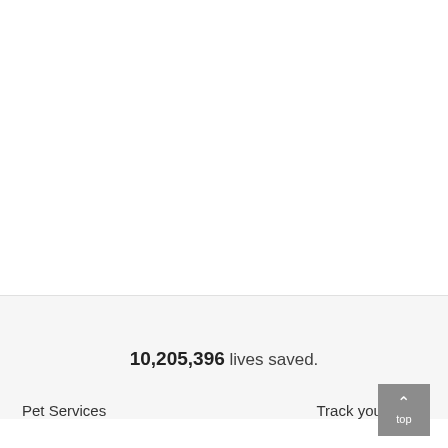10,205,396 lives saved.
Pet Services    Track your order